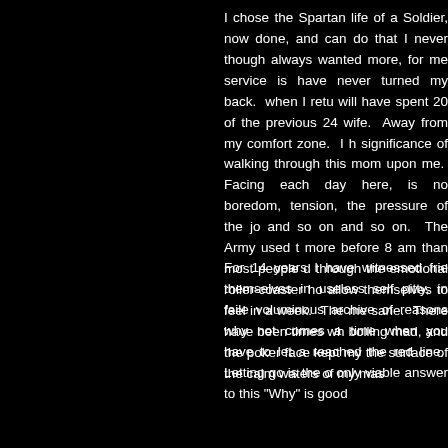I chose the Spartan life of a Soldier, now done, and can do that I never though always wanted more, for me service is have never turned my back. when I retu will have spent 20 of the previous 24 wife. Away from my comfort zone. I h significance of walking through this mom upon me. Facing each day here, is no boredom, tension, the pressure of the jo and so on and so on. The Army used t more before 8 am than most people d through the emotional roller-coaster ho allow themselves to feel in a week. The me sane. There have been times wh boiling mad, and the poker face kept my the surface of the calm waters of my mas
For 14 years I have witnessed frie themselves in useless self pitty, in faile voluminous archive of reasons why not comes a time when you have to let a reached the red line. Letting go is the o only viable answer to this "Why" is good